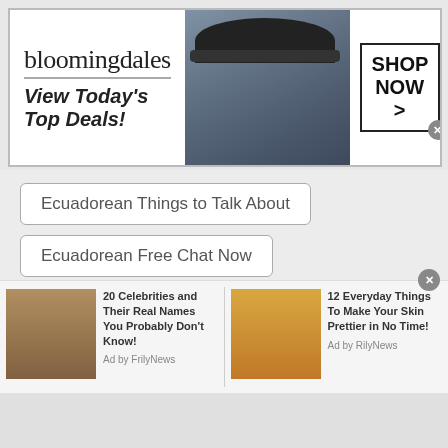[Figure (screenshot): Bloomingdale's advertisement banner: logo, 'View Today's Top Deals!' tagline, fashion model with hat, and 'SHOP NOW >' button]
Ecuadorean Things to Talk About
Ecuadorean Free Chat Now
Ecuadorean Chat with Friends
Ecuadorean Talk to Me
Ecuadorean Start Chatting
Ecuadorean Talk to Strangers Online
Ecuadorean Chat USA
[Figure (screenshot): Bottom ad bar with two sponsored articles: '20 Celebrities and Their Real Names You Probably Don't Know! Ad by FrilyNews' and '12 Everyday Things To Make Your Skin Prettier in No Time! Ad by RilyNews']